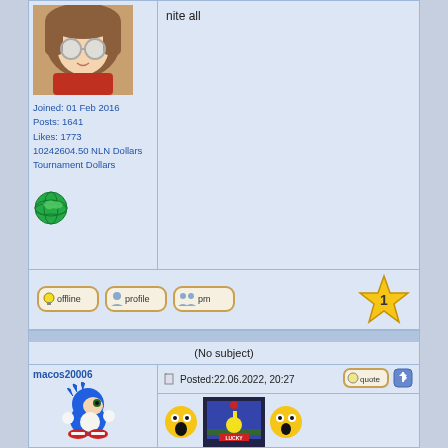[Figure (photo): Anime girl avatar with glasses and brown hair]
Joined: 01 Feb 2016
Posts: 1641
Likes: 1773
10242604.50 NLN Dollars
Tournament Dollars
[Figure (illustration): Green globe/earth icon]
nite all
[Figure (illustration): Offline button icon]
[Figure (illustration): Profile button icon]
[Figure (illustration): PM button icon]
[Figure (illustration): Gold star with number 1]
(No subject)
macos20006
[Figure (illustration): Sonic the Hedgehog avatar]
Posted:22.06.2022, 20:27
[Figure (illustration): Surprised emoji, Lucky Dime Caper game screenshot, and shocked emoji]